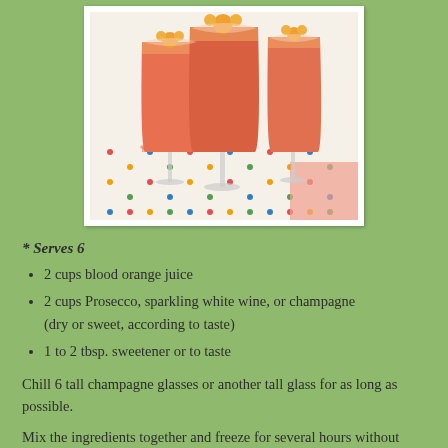[Figure (photo): Three tall champagne flutes filled with an orange-red frozen drink, garnished with orange flowers, set on a colorful polka-dot tablecloth with a pink napkin in the background.]
* Serves 6
2 cups blood orange juice
2 cups Prosecco, sparkling white wine, or champagne (dry or sweet, according to taste)
1 to 2 tbsp. sweetener or to taste
Chill 6 tall champagne glasses or another tall glass for as long as possible.
Mix the ingredients together and freeze for several hours without...